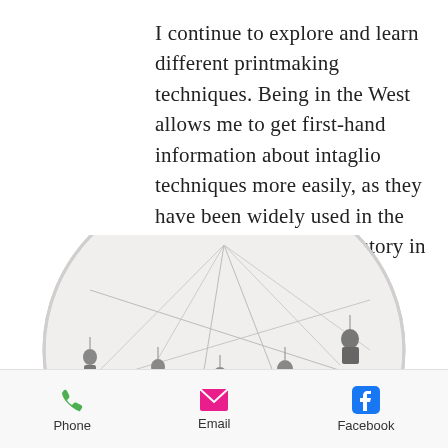I continue to explore and learn different printmaking techniques. Being in the West allows me to get first-hand information about intaglio techniques more easily, as they have been widely used in the West and have a long history in Europe.
[Figure (photo): A circular printmaking artwork showing figures swinging on ropes/wires above a detailed cityscape, in black and white intaglio style. A back-to-top arrow button is visible in the lower right of the circle.]
Phone  Email  Facebook